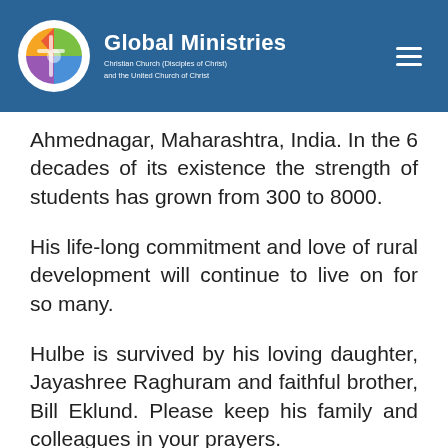Global Ministries — Christian Church (Disciples of Christ) and the United Church of Christ
Ahmednagar, Maharashtra, India. In the 6 decades of its existence the strength of students has grown from 300 to 8000.
His life-long commitment and love of rural development will continue to live on for so many.
Hulbe is survived by his loving daughter, Jayashree Raghuram and faithful brother, Bill Eklund. Please keep his family and colleagues in your prayers.